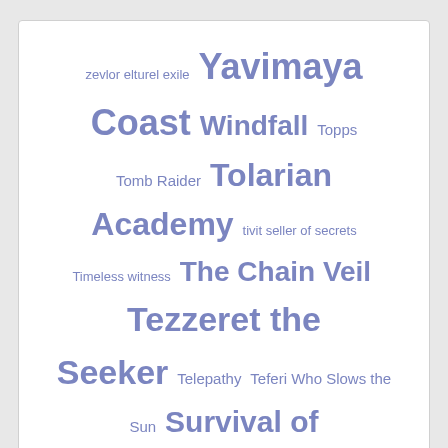[Figure (infographic): A word cloud with various card game and product names in different sizes, all in a muted blue-purple color. Larger words include: Yavimaya Coast, Stoneforge Mystic, Survival of the Fittest, Tolarian Academy, Tezzeret the Seeker, The Chain Veil, Squadron Hawk. Smaller words include: zevlor elturel exile, Windfall, Topps, Tomb Raider, tivit seller of secrets, Timeless witness, Telepathy, Teferi Who Slows the Sun, Sulfurous Springs, Stroke of Genius, Storm the Festival, Star Wars, Split Decision.]
ION Suite